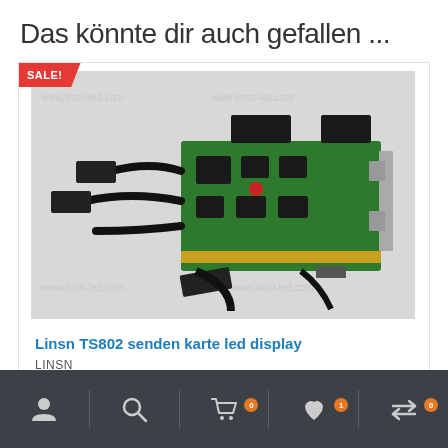Das könnte dir auch gefallen ...
[Figure (photo): Linsn TS802 LED display sending card circuit board with multiple black cables/connectors on a light background]
Linsn TS802 senden karte led display
LINSN
Navigation bar with user, search, cart (0), wishlist (1), and compare (0) icons